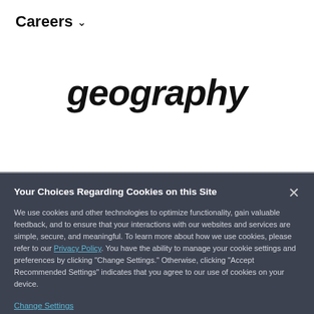Careers ∨
geography
Your Choices Regarding Cookies on this Site
We use cookies and other technologies to optimize functionality, gain valuable feedback, and to ensure that your interactions with our websites and services are simple, secure, and meaningful. To learn more about how we use cookies, please refer to our Privacy Policy. You have the ability to manage your cookie settings and preferences by clicking "Change Settings." Otherwise, clicking "Accept Recommended Settings" indicates that you agree to our use of cookies on your device.
Change Settings
Accept Recommended Settings
Powered by: TrustArc | TRUSTe